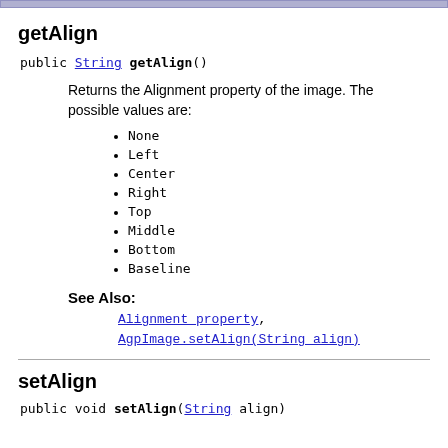getAlign
public String getAlign()
Returns the Alignment property of the image. The possible values are:
None
Left
Center
Right
Top
Middle
Bottom
Baseline
See Also: Alignment property, AgpImage.setAlign(String align)
setAlign
public void setAlign(String align)